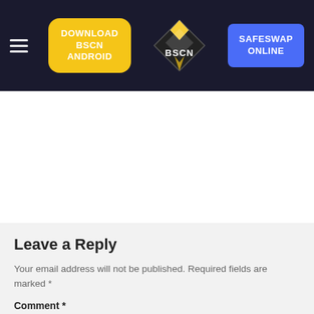[Figure (screenshot): Navigation bar with hamburger menu, yellow 'DOWNLOAD BSCN ANDROID' button, BSCN diamond logo, and blue 'SAFESWAP ONLINE' button on dark background]
[Figure (screenshot): Search bar with placeholder text 'BSCN Search Engine' and magnifying glass icon on light gray background]
[Figure (illustration): Dark banner strip with yellow diamond shapes decorating it]
Leave a Reply
Your email address will not be published. Required fields are marked *
Comment *
[Figure (screenshot): Comment text area input with dark language selector showing US flag and 'English' label]